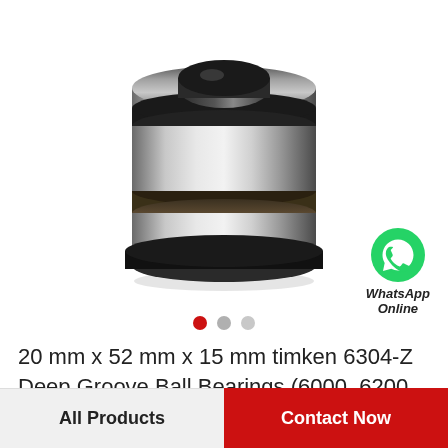[Figure (photo): Photograph of a cylindrical deep groove ball bearing (timken 6304-Z), metallic silver with black rubber seal ring, viewed at a slight angle from above.]
20 mm x 52 mm x 15 mm timken 6304-Z Deep Groove Ball Bearings (6000, 6200, 6300, 6400)
All Products
Contact Now